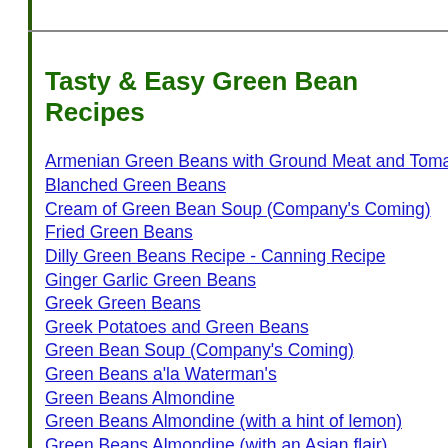Tasty & Easy Green Bean Recipes
Armenian Green Beans with Ground Meat and Tomatoes (F…
Blanched Green Beans
Cream of Green Bean Soup (Company's Coming)
Fried Green Beans
Dilly Green Beans Recipe - Canning Recipe
Ginger Garlic Green Beans
Greek Green Beans
Greek Potatoes and Green Beans
Green Bean Soup (Company's Coming)
Green Beans a'la Waterman's
Green Beans Almondine
Green Beans Almondine (with a hint of lemon)
Green Beans Almondine (with an Asian flair)
Green Beans Almondine (with mushrooms)
Green Beans and Prosciutto Pasta Salad
Green Bean Casserole (Campbell's)
Green Bean Casserole (Cook's Illustrated)
Green Beans, Endive & Boston Lettuce Salad